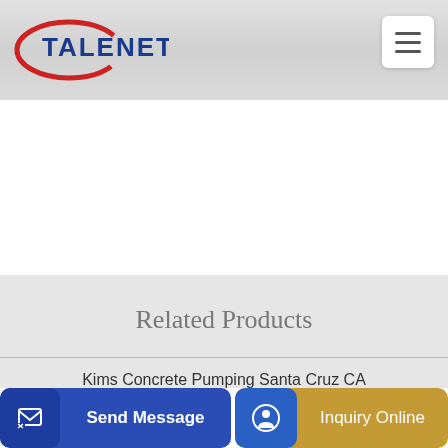[Figure (logo): Talenet company logo with red oval swoosh and blue text TALENET]
[Figure (screenshot): Hamburger menu button icon with three horizontal lines]
Related Products
Kims Concrete Pumping Santa Cruz CA
China Hongda 48m truck-mounted concrete pump with HOWO
Send Message
Inquiry Online